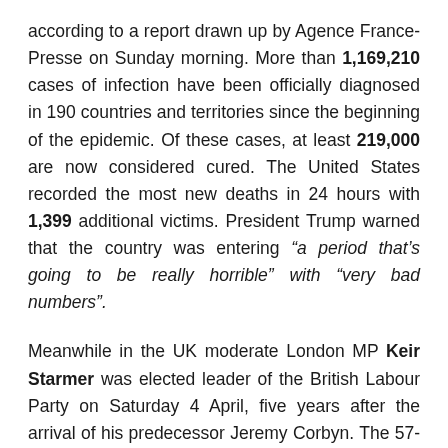according to a report drawn up by Agence France-Presse on Sunday morning. More than 1,169,210 cases of infection have been officially diagnosed in 190 countries and territories since the beginning of the epidemic. Of these cases, at least 219,000 are now considered cured. The United States recorded the most new deaths in 24 hours with 1,399 additional victims. President Trump warned that the country was entering “a period that’s going to be really horrible” with “very bad numbers”.
Meanwhile in the UK moderate London MP Keir Starmer was elected leader of the British Labour Party on Saturday 4 April, five years after the arrival of his predecessor Jeremy Corbyn. The 57-year-old former lawyer received 56.2 per cent of the vote in the first round of voting, to which the party’s 600,000 or so members were invited.